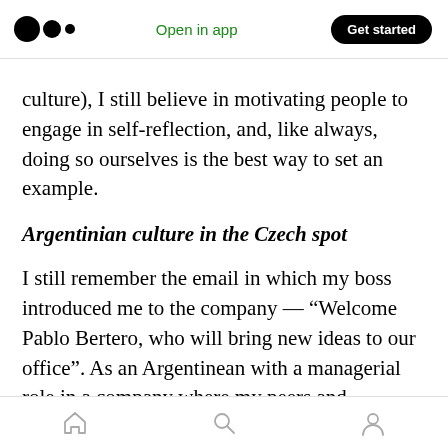Open in app | Get started
culture), I still believe in motivating people to engage in self-reflection, and, like always, doing so ourselves is the best way to set an example.
Argentinian culture in the Czech spot
I still remember the email in which my boss introduced me to the company — “Welcome Pablo Bertero, who will bring new ideas to our office”. As an Argentinean with a managerial role in a company where my peers and superiors are all Czech, it didn’t take much for my ideas to be considered different, and, many times, they were
Home | Search | Profile